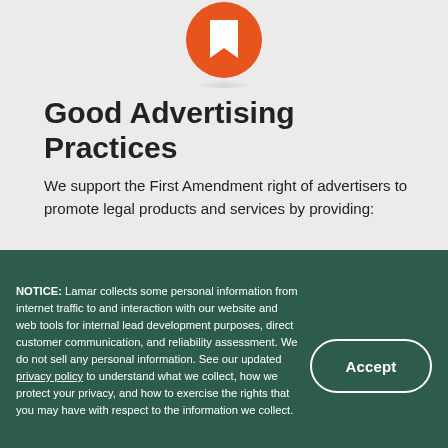[Figure (logo): Orange circle icon with a white flag/bookmark symbol, shown partially at the top of the page]
Good Advertising Practices
We support the First Amendment right of advertisers to promote legal products and services by providing:
Exclusionary zones prohibiting
NOTICE: Lamar collects some personal information from internet traffic to and interaction with our website and web tools for internal lead development purposes, direct customer communication, and reliability assessment. We do not sell any personal information. See our updated privacy policy to understand what we collect, how we protect your privacy, and how to exercise the rights that you may have with respect to the information we collect.